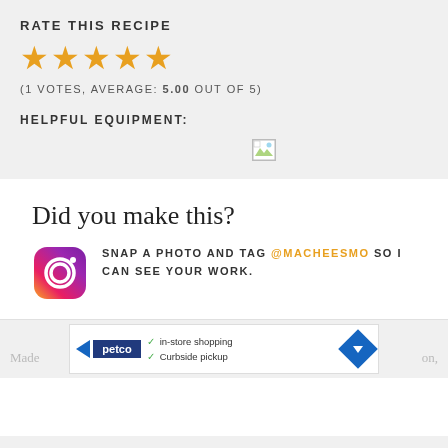RATE THIS RECIPE
[Figure (other): Five gold star rating icons]
(1 VOTES, AVERAGE: 5.00 OUT OF 5)
HELPFUL EQUIPMENT:
[Figure (other): Broken image placeholder icon]
Did you make this?
[Figure (logo): Instagram logo icon]
SNAP A PHOTO AND TAG @MACHEESMO SO I CAN SEE YOUR WORK.
[Figure (other): Petco advertisement banner with checkmarks for in-store shopping and curbside pickup]